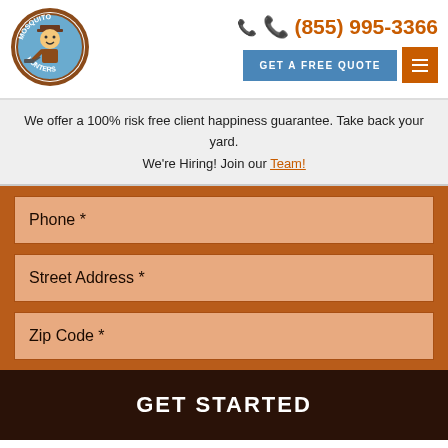[Figure (logo): Mosquito Hunters circular logo with cartoon character]
(855) 995-3366
GET A FREE QUOTE
We offer a 100% risk free client happiness guarantee. Take back your yard.
We're Hiring! Join our Team!
Phone *
Street Address *
Zip Code *
GET STARTED